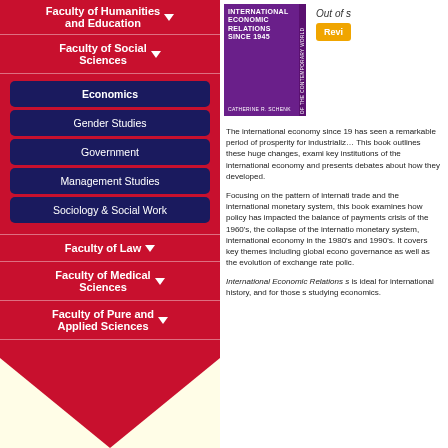Faculty of Humanities and Education
Faculty of Social Sciences
Economics
Gender Studies
Government
Management Studies
Sociology & Social Work
Faculty of Law
Faculty of Medical Sciences
Faculty of Pure and Applied Sciences
[Figure (illustration): Book cover for International Economic Relations Since 1945 by Catherine R. Schenk, purple cover with white text]
Out of
The international economy since 1945 has seen a remarkable period of prosperity for industrialized countries. This book outlines these huge changes, examining key institutions of the international economy and presents debates about how they developed.
Focusing on the pattern of international trade and the international monetary system, this book examines how policy has impacted the balance of payments crisis of the 1960's, the collapse of the international monetary system, international economy in the 1980's and 1990's. It covers key themes including global economic governance as well as the evolution of exchange rate policy.
International Economic Relations since 1945 is ideal for international history, and for those studying economics.